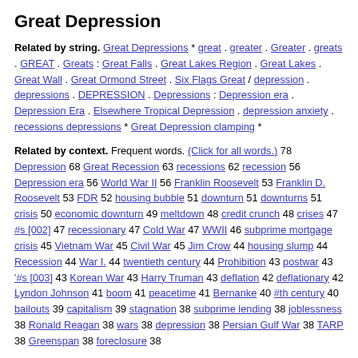Great Depression
Related by string. Great Depressions * great . greater . Greater . greats . GREAT . Greats : Great Falls . Great Lakes Region . Great Lakes . Great Wall . Great Ormond Street . Six Flags Great / depression . depressions . DEPRESSION . Depressions : Depression era . Depression Era . Elsewhere Tropical Depression . depression anxiety . recessions depressions * Great Depression clamping *
Related by context. Frequent words. (Click for all words.) 78 Depression 68 Great Recession 63 recessions 62 recession 56 Depression era 56 World War II 56 Franklin Roosevelt 53 Franklin D. Roosevelt 53 FDR 52 housing bubble 51 downturn 51 downturns 51 crisis 50 economic downturn 49 meltdown 48 credit crunch 48 crises 47 #s [002] 47 recessionary 47 Cold War 47 WWII 46 subprime mortgage crisis 45 Vietnam War 45 Civil War 45 Jim Crow 44 housing slump 44 Recession 44 War I. 44 twentieth century 44 Prohibition 43 postwar 43 '#s [003] 43 Korean War 43 Harry Truman 43 deflation 42 deflationary 42 Lyndon Johnson 41 boom 41 peacetime 41 Bernanke 40 #th century 40 bailouts 39 capitalism 39 stagnation 38 subprime lending 38 joblessness 38 Ronald Reagan 38 wars 38 depression 38 Persian Gulf War 38 TARP 38 Greenspan 38 foreclosure 38